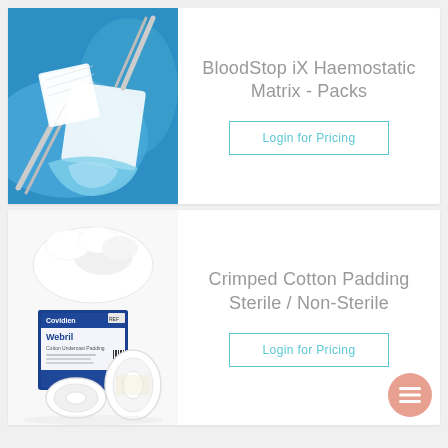[Figure (photo): Photo of BloodStop iX Haemostatic Matrix packs - white gauze pads being held with surgical instruments against blue background, showing gel-like substance]
BloodStop iX Haemostatic Matrix - Packs
Login for Pricing
[Figure (photo): Photo of Crimped Cotton Padding Sterile/Non-Sterile - showing Covidien Webril brand packaging with blue and white boxes and rolled cotton padding products]
Crimped Cotton Padding Sterile / Non-Sterile
Login for Pricing